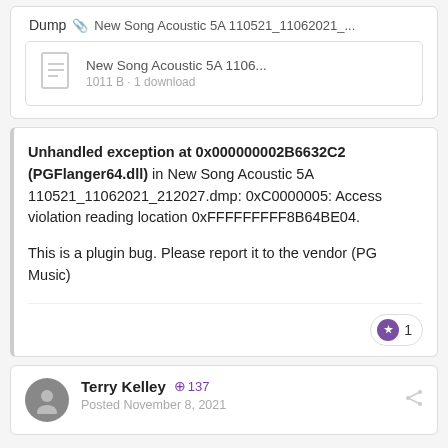Dump 📎 New Song Acoustic 5A 110521_11062021_...
[Figure (other): File attachment box showing a document icon with filename 'New Song Acoustic 5A 1106...' and metadata '1011 B · 1 download']
Unhandled exception at 0x000000002B6632C2 (PGFlanger64.dll) in New Song Acoustic 5A 110521_11062021_212027.dmp: 0xC0000005: Access violation reading location 0xFFFFFFFFF8B64BE04.

This is a plugin bug. Please report it to the vendor (PG Music)
Terry Kelley +137
Posted November 8, 2021